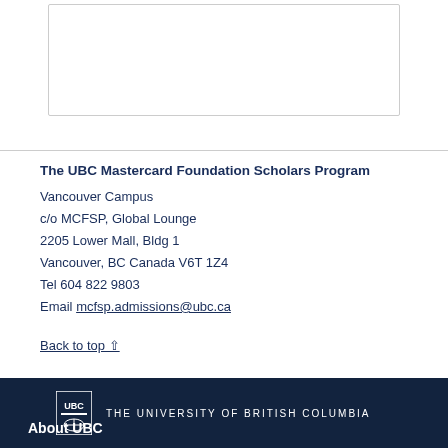[Form/input box area at top of page]
The UBC Mastercard Foundation Scholars Program
Vancouver Campus
c/o MCFSP, Global Lounge
2205 Lower Mall, Bldg 1
Vancouver, BC Canada V6T 1Z4
Tel 604 822 9803
Email mcfsp.admissions@ubc.ca
Back to top ∧
THE UNIVERSITY OF BRITISH COLUMBIA
About UBC